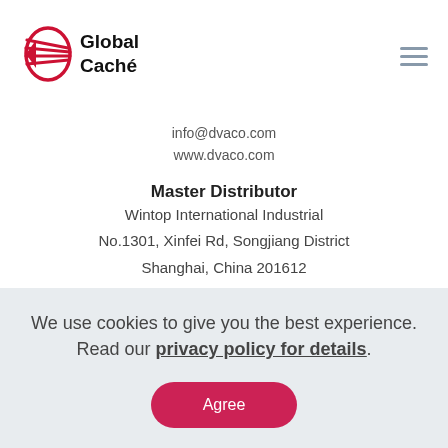Global Caché logo and navigation hamburger menu
info@dvaco.com
www.dvaco.com
Master Distributor
Wintop International Industrial
No.1301, Xinfei Rd, Songjiang District
Shanghai, China 201612
Tel: +86(0)21 67760505 ext 6801
Fax: +86(0)21 67760571
We use cookies to give you the best experience. Read our privacy policy for details.
Agree